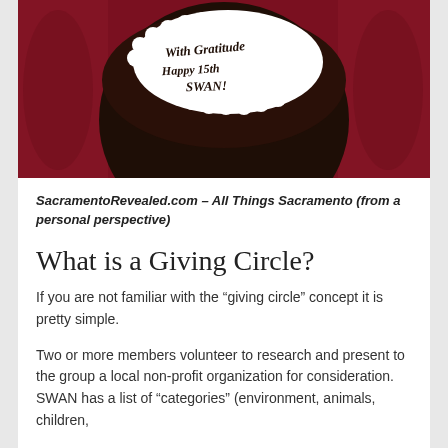[Figure (photo): Top-down view of a dark chocolate cake with white frosting text reading 'With Gratitude Happy 15th SWAN!' on a red background]
SacramentoRevealed.com – All Things Sacramento (from a personal perspective)
What is a Giving Circle?
If you are not familiar with the “giving circle” concept it is pretty simple.
Two or more members volunteer to research and present to the group a local non-profit organization for consideration.  SWAN has a list of “categories” (environment, animals, children,